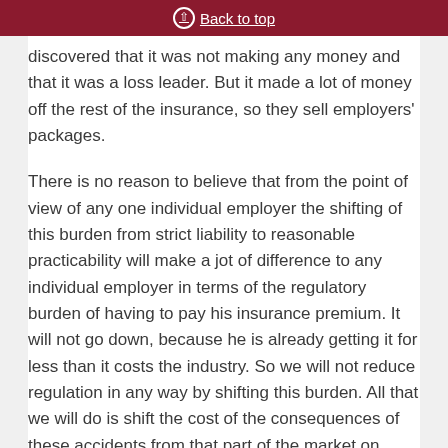Back to top
discovered that it was not making any money and that it was a loss leader. But it made a lot of money off the rest of the insurance, so they sell employers' packages.
There is no reason to believe that from the point of view of any one individual employer the shifting of this burden from strict liability to reasonable practicability will make a jot of difference to any individual employer in terms of the regulatory burden of having to pay his insurance premium. It will not go down, because he is already getting it for less than it costs the industry. So we will not reduce regulation in any way by shifting this burden. All that we will do is shift the cost of the consequences of these accidents from that part of the market on